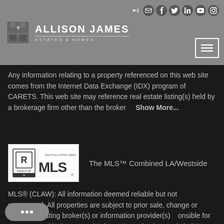[Figure (logo): Allison James Estates & Homes logo with crest icon and social media icons in header]
Any information relating to a property referenced on this web site comes from the Internet Data Exchange (IDX) program of CARETS. This web site may reference real estate listing(s) held by a brokerage firm other than the broker    Show More...
[Figure (logo): REALTOR MLS Multiple Listing Service logo]
The MLS™ Combined LA/Westside
MLS® (CLAW): All information deemed reliable but not guaranteed. All properties are subject to prior sale, change or   Neither listing broker(s) or information provider(s)   onsible for any typographical errors, misinformation, misprints and shall be held totally harmless. Listing(s) information